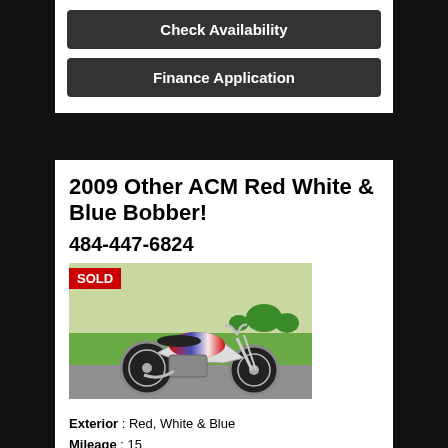Check Availability
Finance Application
2009 Other ACM Red White & Blue Bobber!
484-447-6824
[Figure (photo): Photo of a 2009 ACM Red White & Blue Bobber motorcycle with a SOLD badge in the top-left corner. The motorcycle is parked on pavement with a green lawn and trees in the background.]
Exterior : Red, White & Blue
Mileage : 15
Transmission : 6-Speed
Engine : 88" Revtech